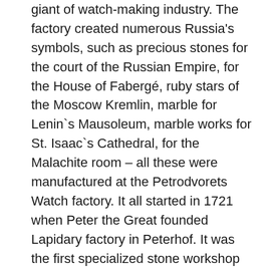giant of watch-making industry. The factory created numerous Russia's symbols, such as precious stones for the court of the Russian Empire, for the House of Fabergé, ruby stars of the Moscow Kremlin, marble for Lenin`s Mausoleum, marble works for St. Isaac`s Cathedral, for the Malachite room – all these were manufactured at the Petrodvorets Watch factory. It all started in 1721 when Peter the Great founded Lapidary factory in Peterhof. It was the first specialized stone workshop in Russia. The Petrodvorets craftsmen participated in the construction of St. Isaac's Cathedral, the Hermitage, the fountains of St. You may find beautiful objects from the Petrodvorets Factory in the world's most famous museums such as the Louvre, Versailles, Hermitage, Sanssouci and others. After the October Revolution of 1917 the Peterhof Lapidary Factory became the first Russian factory producing technical stones for the precise instrument-making industry. In 1930 the factory was renamed the First state factory of precision technical stones. 1 and thus began a